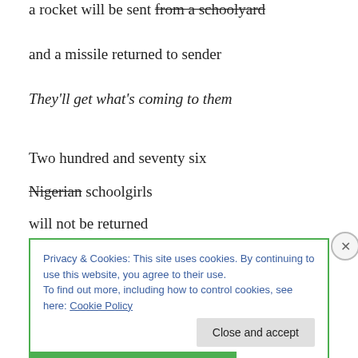a rocket will be sent from a schoolyard (strikethrough on 'from a schoolyard')
and a missile returned to sender
They'll get what's coming to them
Two hundred and seventy six
Nigerian schoolgirls (strikethrough on 'Nigerian')
will not be returned
Privacy & Cookies: This site uses cookies. By continuing to use this website, you agree to their use. To find out more, including how to control cookies, see here: Cookie Policy